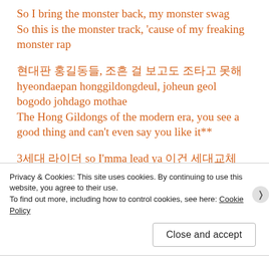So I bring the monster back, my monster swag
So this is the monster track, 'cause of my freaking monster rap
현대판 홍길동들, 조흔 걸 보고도 조타고 못해
hyeondaepan honggildongdeul, joheun geol bogodo johdago mothae
The Hong Gildongs of the modern era, you see a good thing and can't even say you like it**
3세대 라이더 so I'mma lead ya 이건 세대교체 I'm sayin
samsedae rideo so I'mma lead ya igeon sedaegyoche I'm sayin
Privacy & Cookies: This site uses cookies. By continuing to use this website, you agree to their use.
To find out more, including how to control cookies, see here: Cookie Policy
Close and accept